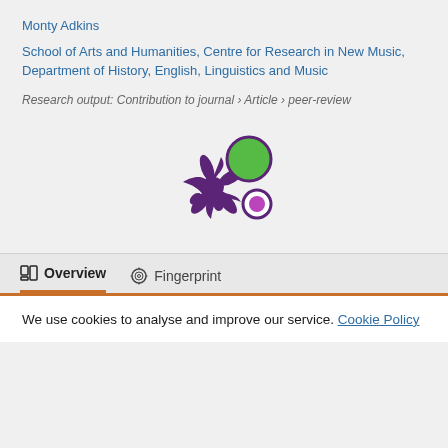Monty Adkins
School of Arts and Humanities, Centre for Research in New Music, Department of History, English, Linguistics and Music
Research output: Contribution to journal › Article › peer-review
[Figure (logo): Altmetric donut logo — purple splash shape with green and purple circles]
Overview
Fingerprint
We use cookies to analyse and improve our service. Cookie Policy